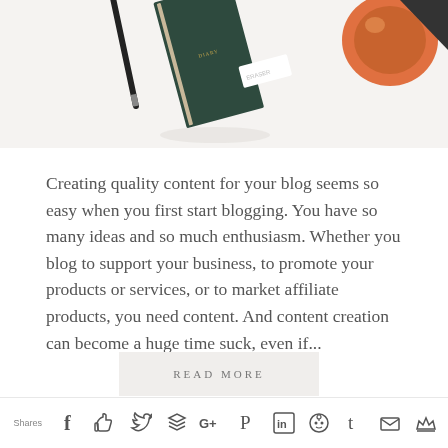[Figure (photo): Top portion of a desk flatlay photo showing a dark green notebook/diary, a pen, an eraser, and what appears to be an orange coffee cup or mug, all on a white background.]
Creating quality content for your blog seems so easy when you first start blogging. You have so many ideas and so much enthusiasm. Whether you blog to support your business, to promote your products or services, or to market affiliate products, you need content. And content creation can become a huge time suck, even if...
READ MORE
Shares [social share icons: Facebook, Like, Twitter, Buffer, Google+, Pinterest, LinkedIn, Reddit, Tumblr, Email, Crown]